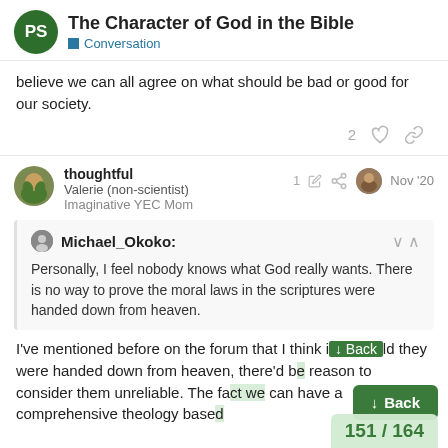The Character of God in the Bible — Conversation
believe we can all agree on what should be bad or good for our society.
thoughtful Valerie (non-scientist) Imaginative YEC Mom — Nov '20
Michael_Okoko: Personally, I feel nobody knows what God really wants. There is no way to prove the moral laws in the scriptures were handed down from heaven.
I've mentioned before on the forum that I think i[f] [they cou]ld they were handed down from heaven, there'd b[e no] [good] reason to consider them unreliable. The fa[ct that we] can have a comprehensive theology base[d on] [scrip]ture it...